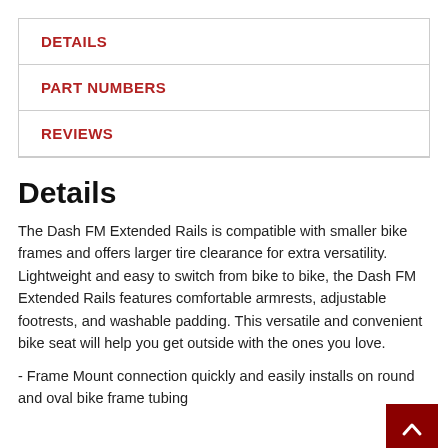DETAILS
PART NUMBERS
REVIEWS
Details
The Dash FM Extended Rails is compatible with smaller bike frames and offers larger tire clearance for extra versatility. Lightweight and easy to switch from bike to bike, the Dash FM Extended Rails features comfortable armrests, adjustable footrests, and washable padding. This versatile and convenient bike seat will help you get outside with the ones you love.
- Frame Mount connection quickly and easily installs on round and oval bike frame tubing